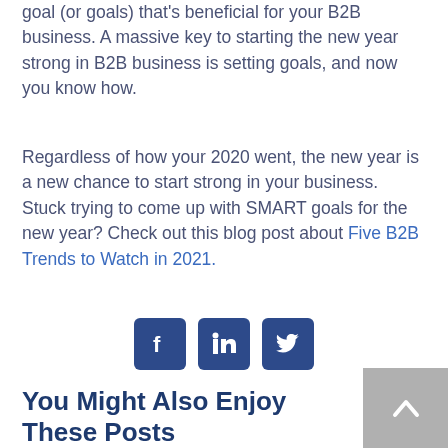goal (or goals) that's beneficial for your B2B business. A massive key to starting the new year strong in B2B business is setting goals, and now you know how.
Regardless of how your 2020 went, the new year is a new chance to start strong in your business. Stuck trying to come up with SMART goals for the new year? Check out this blog post about Five B2B Trends to Watch in 2021.
[Figure (infographic): Three social media share icons: Facebook, LinkedIn, Twitter — dark blue rounded square buttons]
You Might Also Enjoy These Posts